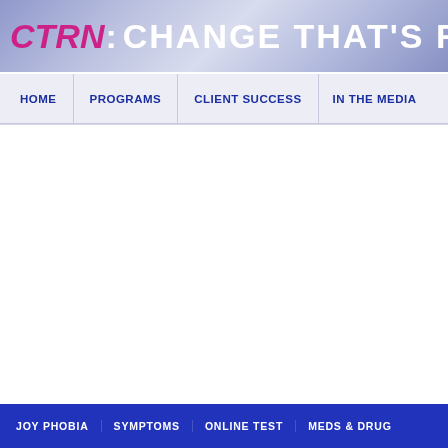CTRN: CHANGE THAT'S RIGHT
HOME | PROGRAMS | CLIENT SUCCESS | IN THE MEDIA
JOY PHOBIA | SYMPTOMS | ONLINE TEST | MEDS & DRUG